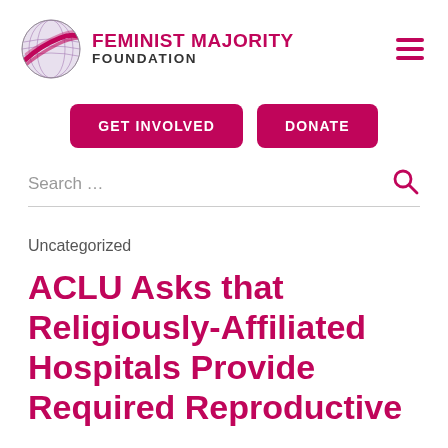[Figure (logo): Feminist Majority Foundation logo: globe sphere with pink/purple bands, beside text 'FEMINIST MAJORITY FOUNDATION']
GET INVOLVED
DONATE
Search …
Uncategorized
ACLU Asks that Religiously-Affiliated Hospitals Provide Required Reproductive